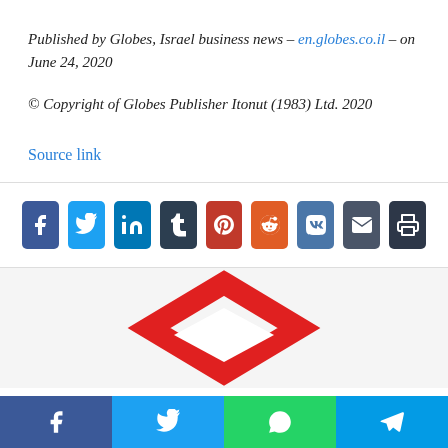Published by Globes, Israel business news – en.globes.co.il – on June 24, 2020
© Copyright of Globes Publisher Itonut (1983) Ltd. 2020
Source link
[Figure (other): Social share buttons: Facebook, Twitter, LinkedIn, Tumblr, Pinterest, Reddit, VK, Email, Print]
[Figure (logo): Partial red diamond-shaped logo on grey background]
[Figure (other): Bottom mobile share bar with Facebook, Twitter, WhatsApp, and Telegram buttons]